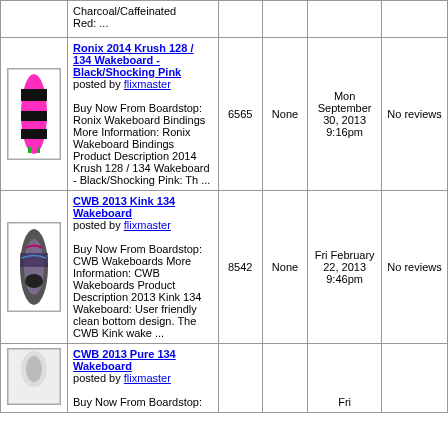| Image | Product | Views | Price | Date Added | Reviews |
| --- | --- | --- | --- | --- | --- |
| [img] | Charcoal/Caffeinated
Red: ... |  |  |  |  |
| [img] | Ronix 2014 Krush 128 / 134 Wakeboard - Black/Shocking Pink
posted by flixmaster

Buy Now From Boardstop: Ronix Wakeboard Bindings More Information: Ronix Wakeboard Bindings Product Description 2014 Krush 128 / 134 Wakeboard - Black/Shocking Pink: Th ... | 6565 | None | Mon September 30, 2013 9:16pm | No reviews |
| [img] | CWB 2013 Kink 134 Wakeboard
posted by flixmaster

Buy Now From Boardstop: CWB Wakeboards More Information: CWB Wakeboards Product Description 2013 Kink 134 Wakeboard: User friendly clean bottom design. The CWB Kink wake ... | 8542 | None | Fri February 22, 2013 9:46pm | No reviews |
| [img] | CWB 2013 Pure 134 Wakeboard
posted by flixmaster

Buy Now From Boardstop: |  |  | Fri |  |